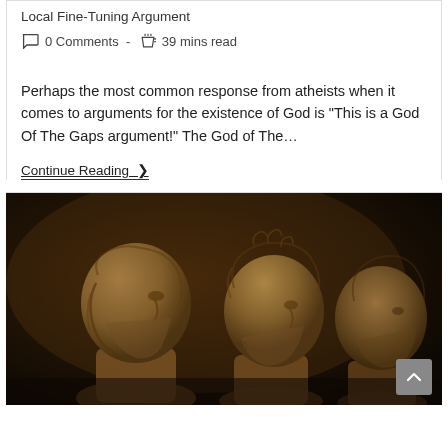Local Fine Tuning Argument
0 Comments  -  39 mins read
Perhaps the most common response from atheists when it comes to arguments for the existence of God is "This is a God Of The Gaps argument!" The God of The…
Continue Reading ›
[Figure (photo): Three marble or stone busts of bearded ancient Greek or Roman philosophers viewed in profile against a dark background, warm sepia/amber tones.]